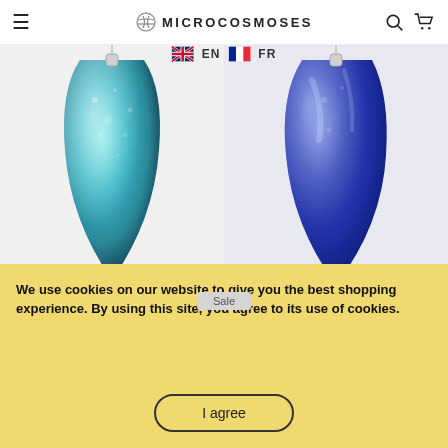MICROCOSMOSES | EN | FR
[Figure (photo): Two teardrop/pendulum shaped earrings on silver wire: left one is turquoise/teal color with iridescent texture, right one is deep blue with metallic sheen, both drop-shaped pendants against light background]
EARRINGS TURQUOISE ~ NIGHT BLUE | DROP | SILVER 925 | REFLET
from €23,80 €34,00
EARRINGS VERT DE BLEU ~ TEAL | DROP | SILVER 925 | REFLET
from €23,80 €34,00
Sale
We use cookies on our website to give you the best shopping experience. By using this site, you agree to its use of cookies.
I agree